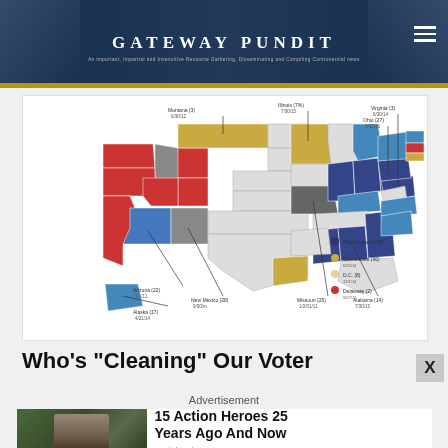GATEWAY PUNDIT
[Figure (map): US map showing states color-coded by category, with labeled callouts for various states including Rhode Island, Connecticut, D.C., Delaware, Illinois, Virginia, Ohio, Arizona, New Mexico, Missouri, Alabama, Alaska, and others. States are colored red, blue, dark blue, gray, and gold.]
Who's “Cleaning” Our Voter
Advertisement
[Figure (photo): Advertisement: 15 Action Heroes 25 Years Ago And Now - Brainberries. Shows a woman in warrior costume.]